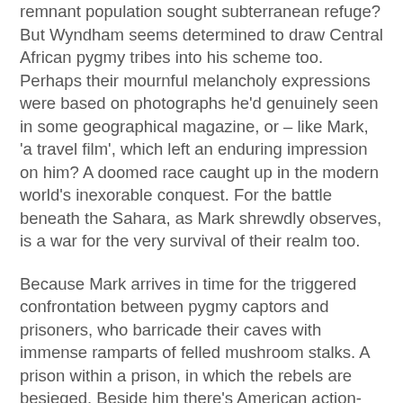remnant population sought subterranean refuge? But Wyndham seems determined to draw Central African pygmy tribes into his scheme too. Perhaps their mournful melancholy expressions were based on photographs he'd genuinely seen in some geographical magazine, or – like Mark, 'a travel film', which left an enduring impression on him? A doomed race caught up in the modern world's inexorable conquest. For the battle beneath the Sahara, as Mark shrewdly observes, is a war for the very survival of their realm too.
Because Mark arrives in time for the triggered confrontation between pygmy captors and prisoners, who barricade their caves with immense ramparts of felled mushroom stalks. A prison within a prison, in which the rebels are besieged. Beside him there's American action-man John Smith, with leadership charisma. Mahmud el Jizzah, and skilled African carver Zickle. While, a dialogue with thoughtful English archaeologist Charles Gordon, takes a right-wing slant when Gordon argues that democracy, Socialism and Communism are not evidence of the triumph of reason, but simply modern religions. As Mark argues back, Gordon insists that the